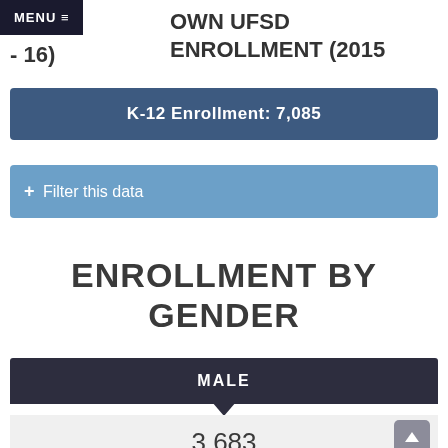MENU ≡
OWN UFSD ENROLLMENT (2015 - 16)
K-12 Enrollment: 7,085
+ Filter this data
ENROLLMENT BY GENDER
MALE
3,683